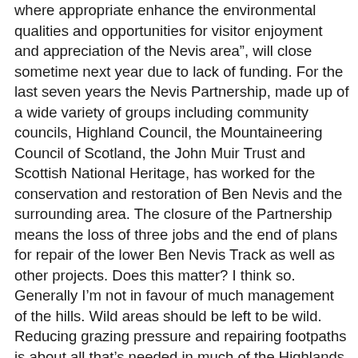where appropriate enhance the environmental qualities and opportunities for visitor enjoyment and appreciation of the Nevis area", will close sometime next year due to lack of funding. For the last seven years the Nevis Partnership, made up of a wide variety of groups including community councils, Highland Council, the Mountaineering Council of Scotland, the John Muir Trust and Scottish National Heritage, has worked for the conservation and restoration of Ben Nevis and the surrounding area. The closure of the Partnership means the loss of three jobs and the end of plans for repair of the lower Ben Nevis Track as well as other projects. Does this matter? I think so. Generally I’m not in favour of much management of the hills. Wild areas should be left to be wild. Reducing grazing pressure and repairing footpaths is about all that’s needed in much of the Highlands. Ben Nevis is different though because it's the highest mountain and therefore very popular. Over 150,000 people are estimated to climb it every year. And then there are all those who visit Glen Nevis and walk its footpaths but don’t climb Ben Nevis. This huge volume of visitors puts enormous pressure on footpaths and the natural environment so some management is needed. Now the local community and the